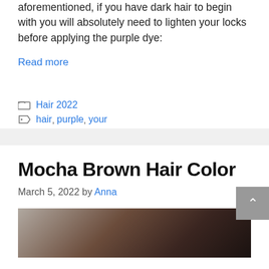aforementioned, if you have dark hair to begin with you will absolutely need to lighten your locks before applying the purple dye:
Read more
Hair 2022
hair, purple, your
Mocha Brown Hair Color
March 5, 2022 by Anna
[Figure (photo): Photo of mocha brown hair color on a person]